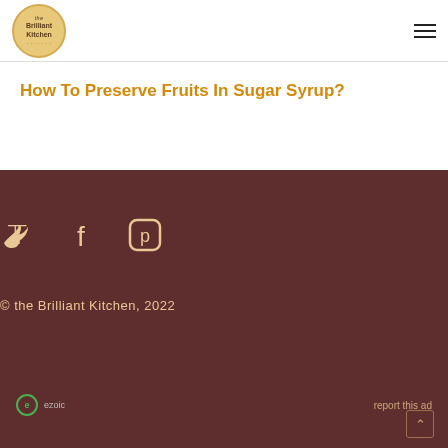Brilliant Kitchen
How To Preserve Fruits In Sugar Syrup?
© the Brilliant Kitchen, 2022